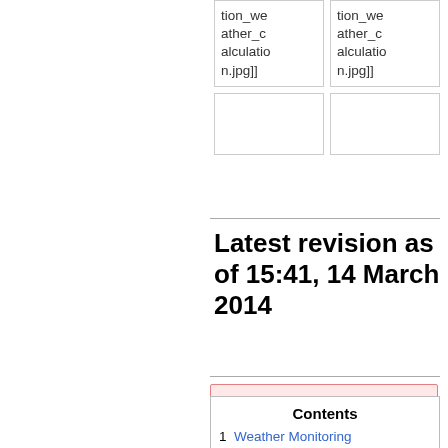| tion_weather_calculation.jpg]] | tion_weather_calculation.jpg]] |
|  |  |
Latest revision as of 15:41, 14 March 2014
[Figure (other): Red-bordered box (partial, content not visible)]
Contents
1  Weather Monitoring
1.1  Ingestion into database
1.2  System